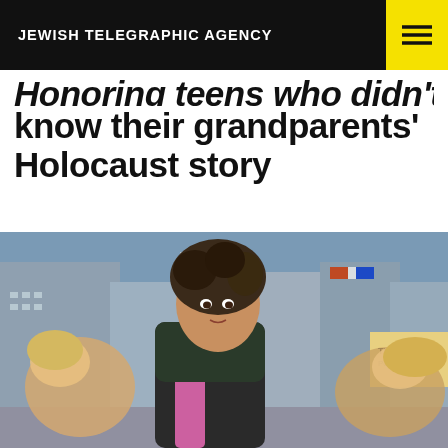JEWISH TELEGRAPHIC AGENCY
…Honoring teens who didn't know their grandparents' Holocaust story
[Figure (photo): Dancers performing in Times Square, New York City. A young woman with curly dark hair in a black and gold outfit faces the camera in the foreground, while other dancers with blonde hair are partially visible on either side. NYC billboards and buildings are visible in the background.]